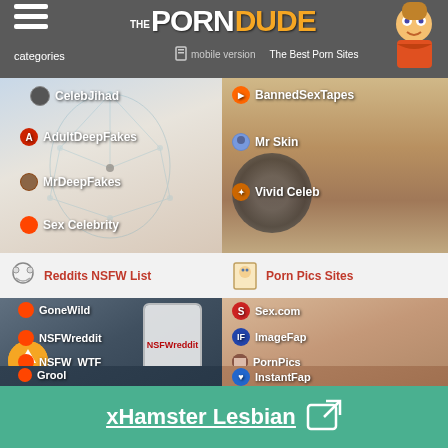The Porn Dude - The Best Porn Sites | categories | mobile version
[Figure (screenshot): Left panel: AI face mesh overlay image with site links: CelebJihad, AdultDeepFakes, MrDeepFakes, Sex Celebrity. Right panel: woman by car image with site links: BannedSexTapes, Mr Skin, Vivid Celeb]
Reddits NSFW List
Porn Pics Sites
[Figure (screenshot): Left panel: phone/reddit image with site links: GoneWild, NSFWreddit, NSFW_WTF, Grool. Right panel: adult content image with site links: Sex.com, ImageFap, PornPics, InstantFap]
xHamster Lesbian